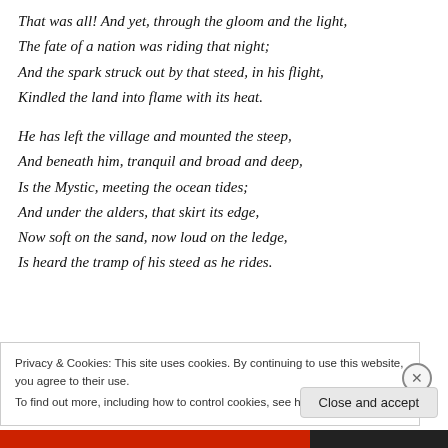That was all! And yet, through the gloom and the light,
The fate of a nation was riding that night;
And the spark struck out by that steed, in his flight,
Kindled the land into flame with its heat.

He has left the village and mounted the steep,
And beneath him, tranquil and broad and deep,
Is the Mystic, meeting the ocean tides;
And under the alders, that skirt its edge,
Now soft on the sand, now loud on the ledge,
Is heard the tramp of his steed as he rides.
Privacy & Cookies: This site uses cookies. By continuing to use this website, you agree to their use.
To find out more, including how to control cookies, see here: Cookie Policy